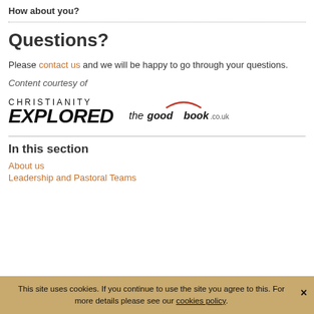How about you?
Questions?
Please contact us and we will be happy to go through your questions.
Content courtesy of
[Figure (logo): Christianity Explored and The Good Book Co logos side by side]
In this section
About us
Leadership and Pastoral Teams
This site uses cookies. If you continue to use the site you agree to this. For more details please see our cookies policy.